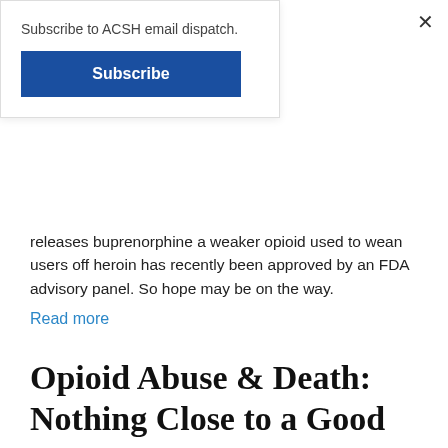Subscribe to ACSH email dispatch.
Subscribe
releases buprenorphine a weaker opioid used to wean users off heroin has recently been approved by an FDA advisory panel. So hope may be on the way.
Read more
Opioid Abuse & Death: Nothing Close to a Good Answer
America's huge addiction problem stems from the use of opioid narcotics, such as oxycodone (Percocet) and hydrocodone (Vicodin). But attempts to limit access to these drugs have had unintended consequences. And